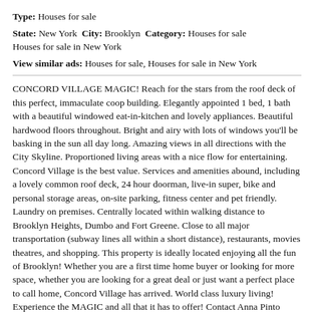Type: Houses for sale
State: New York  City: Brooklyn  Category: Houses for sale
Houses for sale in New York
View similar ads: Houses for sale, Houses for sale in New York
CONCORD VILLAGE MAGIC! Reach for the stars from the roof deck of this perfect, immaculate coop building. Elegantly appointed 1 bed, 1 bath with a beautiful windowed eat-in-kitchen and lovely appliances. Beautiful hardwood floors throughout. Bright and airy with lots of windows you'll be basking in the sun all day long. Amazing views in all directions with the City Skyline. Proportioned living areas with a nice flow for entertaining. Concord Village is the best value. Services and amenities abound, including a lovely common roof deck, 24 hour doorman, live-in super, bike and personal storage areas, on-site parking, fitness center and pet friendly. Laundry on premises. Centrally located within walking distance to Brooklyn Heights, Dumbo and Fort Greene. Close to all major transportation (subway lines all within a short distance), restaurants, movies theatres, and shopping. This property is ideally located enjoying all the fun of Brooklyn! Whether you are a first time home buyer or looking for more space, whether you are looking for a great deal or just want a perfect place to call home, Concord Village has arrived. World class luxury living! Experience the MAGIC and all that it has to offer! Contact Anna Pinto Realty 917-515-xxxx for details.